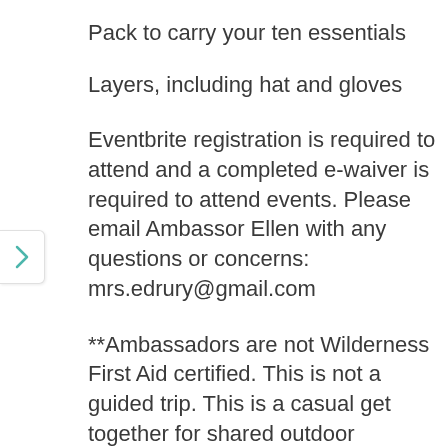Pack to carry your ten essentials
Layers, including hat and gloves
Eventbrite registration is required to attend and a completed e-waiver is required to attend events. Please email Ambassor Ellen with any questions or concerns: mrs.edrury@gmail.com
**Ambassadors are not Wilderness First Aid certified. This is not a guided trip. This is a casual get together for shared outdoor enthusiasts. Safety is a top priority, please plan accordingly.**